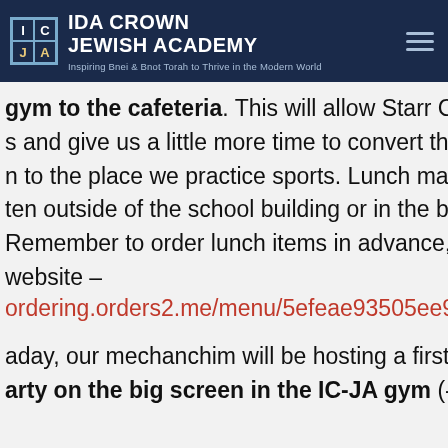IDA CROWN JEWISH ACADEMY – Inspiring Bnei & Bnot Torah to Thrive in the Modern World
gym to the cafeteria. This will allow Starr Catering to ad s and give us a little more time to convert the gym from a n to the place we practice sports. Lunch may still only be ten outside of the school building or in the building's assig Remember to order lunch items in advance, go to the Sta website – bordering.orders2.me/menu/5efeae93505ee98f137b23cc
aday, our mechanchim will be hosting a first-half Super Bo arty on the big screen in the IC-JA gym (- socially distanc